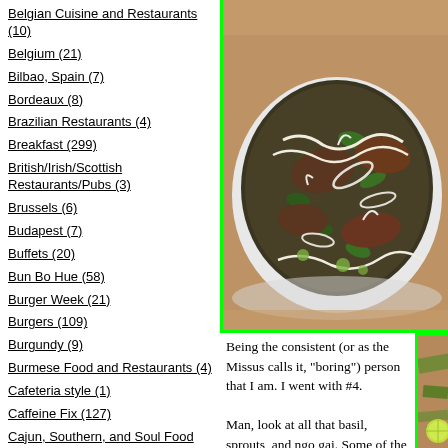Belgian Cuisine and Restaurants (10)
Belgium (21)
Bilbao, Spain (7)
Bordeaux (8)
Brazilian Restaurants (4)
Breakfast (299)
British/Irish/Scottish Restaurants/Pubs (3)
Brussels (6)
Budapest (7)
Buffets (20)
Bun Bo Hue (58)
Burger Week (21)
Burgers (109)
Burgundy (9)
Burmese Food and Restaurants (4)
Cafeteria style (1)
Caffeine Fix (127)
Cajun, Southern, and Soul Food (34)
[Figure (photo): Bowl of pho soup with beef, noodles, bean sprouts, onions, and herbs in a white bowl on a wooden table]
Being the consistent (or as the Missus calls it, "boring") person that I am. I went with #4.

Man, look at all that basil, sprouts, and ngo gai. Some of the basil was turning color, but
[Figure (photo): Partial photo showing a wooden table surface with green herbs/basil]